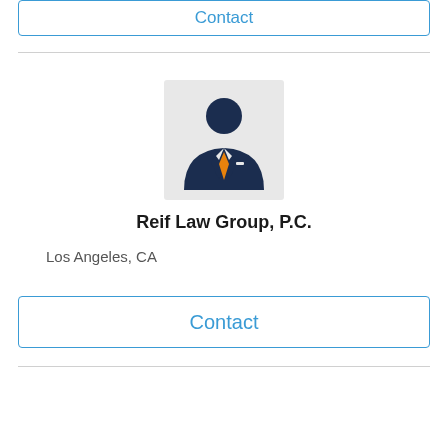Contact
[Figure (illustration): Generic lawyer/professional avatar icon: dark navy blue suit with orange tie on a light gray square background]
Reif Law Group, P.C.
Los Angeles, CA
Contact